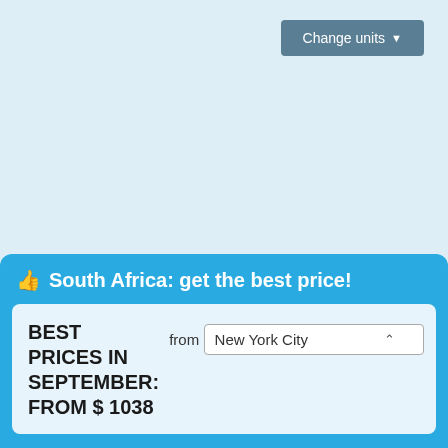[Figure (screenshot): Button labeled 'Change units' with a dropdown arrow, styled in slate blue/teal color]
[Figure (infographic): Blue promotional card with thumbs-up icon reading 'South Africa: get the best price!' containing an inner light blue card with 'BEST PRICES IN SEPTEMBER: FROM $ 1038' text and a 'from New York City' dropdown selector]